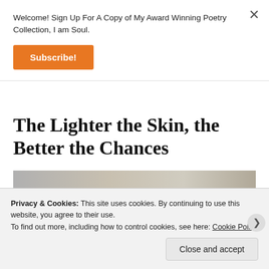Welcome! Sign Up For A Copy of My Award Winning Poetry Collection, I am Soul.
Subscribe!
The Lighter the Skin, the Better the Chances
[Figure (photo): Partial photo of a person, cropped at top of frame]
Privacy & Cookies: This site uses cookies. By continuing to use this website, you agree to their use.
To find out more, including how to control cookies, see here: Cookie Policy
Close and accept